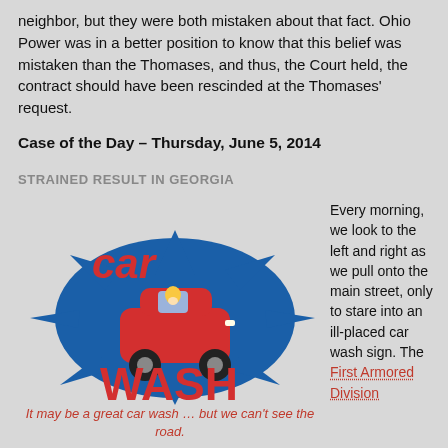neighbor, but they were both mistaken about that fact. Ohio Power was in a better position to know that this belief was mistaken than the Thomases, and thus, the Court held, the contract should have been rescinded at the Thomases' request.
Case of the Day – Thursday, June 5, 2014
STRAINED RESULT IN GEORGIA
[Figure (illustration): Car Wash clipart logo: red text 'car' and 'WASH' on a blue ink-splash background with a cartoon red car driven by a blonde person]
It may be a great car wash … but we can't see the road.
Every morning, we look to the left and right as we pull onto the main street, only to stare into an ill-placed car wash sign. The First Armored Division